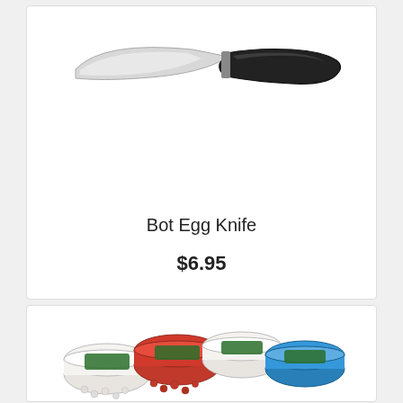[Figure (photo): Photo of a Bot Egg Knife with a curved blade and black ergonomic handle, shown from above on a white background]
Bot Egg Knife
$6.95
[Figure (photo): Photo of multiple small round containers of colored beads or eggs arranged in an arc, with green labels, on a white background]